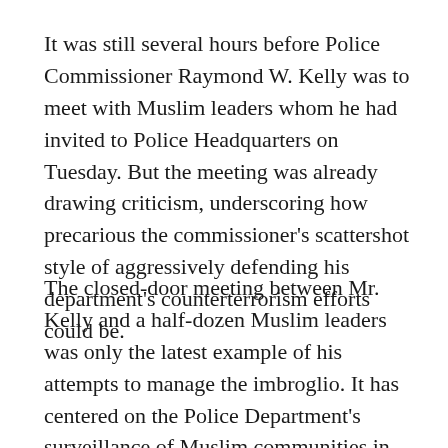It was still several hours before Police Commissioner Raymond W. Kelly was to meet with Muslim leaders whom he had invited to Police Headquarters on Tuesday. But the meeting was already drawing criticism, underscoring how precarious the commissioner's scattershot style of aggressively defending his department's counterterrorism efforts could be.
The closed-door meeting between Mr. Kelly and a half-dozen Muslim leaders was only the latest example of his attempts to manage the imbroglio. It has centered on the Police Department's surveillance of Muslim communities in New York City, and has made its